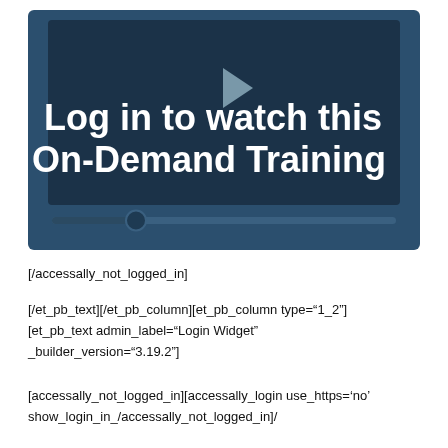[Figure (screenshot): Video thumbnail with dark blue background showing a play button icon and text 'Log in to watch this On-Demand Training' in bold white, with a progress/scrubber bar at the bottom]
[/accessally_not_logged_in]
[/et_pb_text][/et_pb_column][et_pb_column type="1_2"] [et_pb_text admin_label="Login Widget" _builder_version="3.19.2"]
[accessally_not_logged_in][accessally_login use_https='no' show_login_in_/accessally_not_logged_in]/